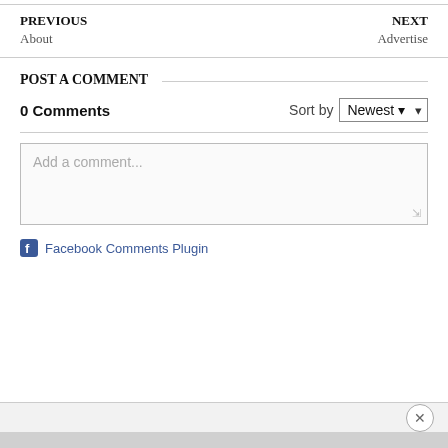PREVIOUS
About
NEXT
Advertise
POST A COMMENT
0 Comments
Sort by Newest
[Figure (screenshot): Comment input textarea with placeholder text 'Add a comment...']
Facebook Comments Plugin
[Figure (screenshot): Bottom advertisement/close bar with X close button]